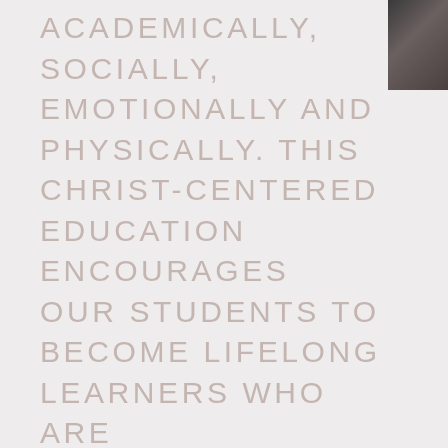[Figure (photo): Partial photo visible in top-right corner, appears to show a dark outdoor or action scene]
ACADEMICALLY, SOCIALLY, EMOTIONALLY AND PHYSICALLY. THIS CHRIST-CENTERED EDUCATION ENCOURAGES OUR STUDENTS TO BECOME LIFELONG LEARNERS WHO ARE RESPONSIBLE, JUST AND MORAL LEADERS.